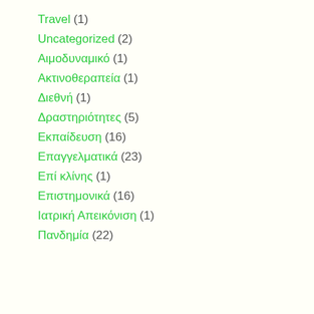Travel (1)
Uncategorized (2)
Αιμοδυναμικό (1)
Ακτινοθεραπεία (1)
Διεθνή (1)
Δραστηριότητες (5)
Εκπαίδευση (16)
Επαγγελματικά (23)
Επί κλίνης (1)
Επιστημονικά (16)
Ιατρική Απεικόνιση (1)
Πανδημία (22)